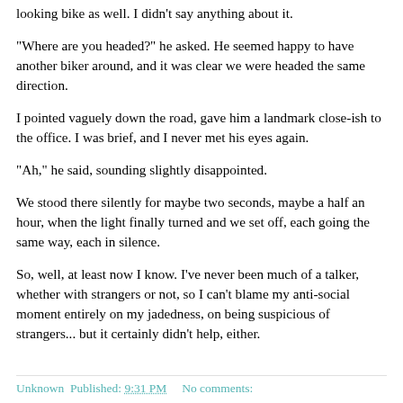looking bike as well. I didn't say anything about it.
"Where are you headed?" he asked. He seemed happy to have another biker around, and it was clear we were headed the same direction.
I pointed vaguely down the road, gave him a landmark close-ish to the office. I was brief, and I never met his eyes again.
"Ah," he said, sounding slightly disappointed.
We stood there silently for maybe two seconds, maybe a half an hour, when the light finally turned and we set off, each going the same way, each in silence.
So, well, at least now I know. I've never been much of a talker, whether with strangers or not, so I can't blame my anti-social moment entirely on my jadedness, on being suspicious of strangers... but it certainly didn't help, either.
Unknown Published: 9:31 PM    No comments: